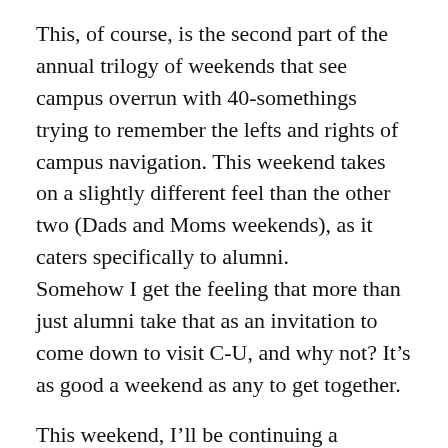This, of course, is the second part of the annual trilogy of weekends that see campus overrun with 40-somethings trying to remember the lefts and rights of campus navigation. This weekend takes on a slightly different feel than the other two (Dads and Moms weekends), as it caters specifically to alumni.
Somehow I get the feeling that more than just alumni take that as an invitation to come down to visit C-U, and why not? It’s as good a weekend as any to get together.
This weekend, I’ll be continuing a tradition we started last fall, which of course involves drinking with the folks.
In fact, it is about drinking with my own class of